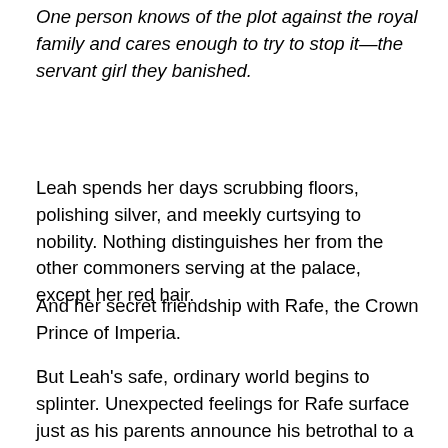One person knows of the plot against the royal family and cares enough to try to stop it—the servant girl they banished.
Leah spends her days scrubbing floors, polishing silver, and meekly curtsying to nobility. Nothing distinguishes her from the other commoners serving at the palace, except her red hair.
And her secret friendship with Rafe, the Crown Prince of Imperia.
But Leah's safe, ordinary world begins to splinter. Unexpected feelings for Rafe surface just as his parents announce his betrothal to a foreign princess. Then she unearths a plot to overthrow the royal family. Her life shatters completely when the queen banishes her for treason.